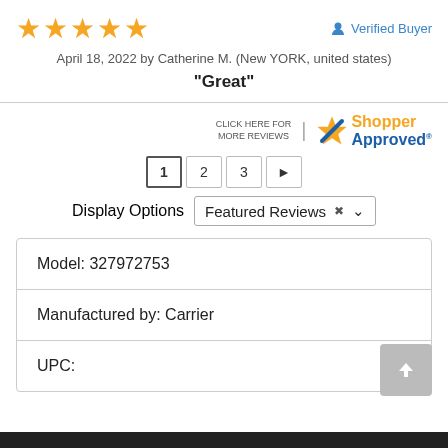[Figure (other): Five orange star rating icons]
Verified Buyer
April 18, 2022 by Catherine M. (New YORK, united states)
“Great”
[Figure (logo): Shopper Approved logo with text CLICK HERE FOR MORE REVIEWS]
1  2  3  ►
Display Options  Featured Reviews
| Model: 327972753 |
| Manufactured by: Carrier |
| UPC: |